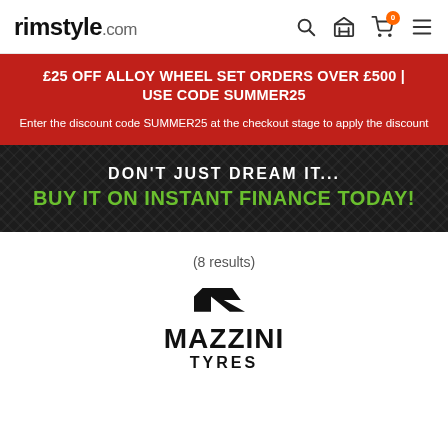rimstyle.com
£25 OFF ALLOY WHEEL SET ORDERS OVER £500 | USE CODE SUMMER25
Enter the discount code SUMMER25 at the checkout stage to apply the discount
[Figure (infographic): Dark carbon-fiber textured banner with text: DON'T JUST DREAM IT... BUY IT ON INSTANT FINANCE TODAY!]
(8 results)
[Figure (logo): Mazzini Tyres logo in black — angular arrow icon above stylized bold text MAZZINI TYRES]